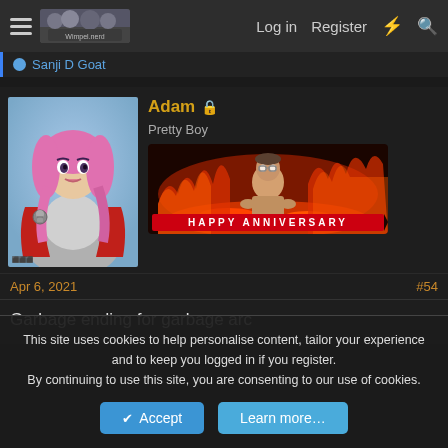Log in  Register
Sanji D Goat
Adam 🔒
Pretty Boy
[Figure (illustration): Anime/comic style illustration of a woman with pink hair wearing a red jacket and grey outfit with skull tattoo on arm]
[Figure (illustration): Dark fantasy image of a muscular figure surrounded by fire/lava with text HAPPY ANNIVERSARY at the bottom]
Apr 6, 2021
#54
Garbage ending for garbage arc
This site uses cookies to help personalise content, tailor your experience and to keep you logged in if you register.
By continuing to use this site, you are consenting to our use of cookies.
Accept  Learn more...